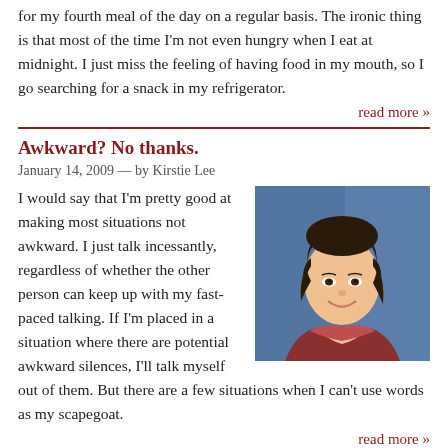for my fourth meal of the day on a regular basis. The ironic thing is that most of the time I’m not even hungry when I eat at midnight. I just miss the feeling of having food in my mouth, so I go searching for a snack in my refrigerator.
read more »
Awkward? No thanks.
January 14, 2009 — by Kirstie Lee
[Figure (photo): Portrait photo of Kirstie Lee, a young woman with dark hair, smiling, against a blue background.]
I would say that I’m pretty good at making most situations not awkward. I just talk incessantly, regardless of whether the other person can keep up with my fast-paced talking. If I’m placed in a situation where there are potential awkward silences, I’ll talk myself out of them. But there are a few situations when I can’t use words as my scapegoat.
read more »